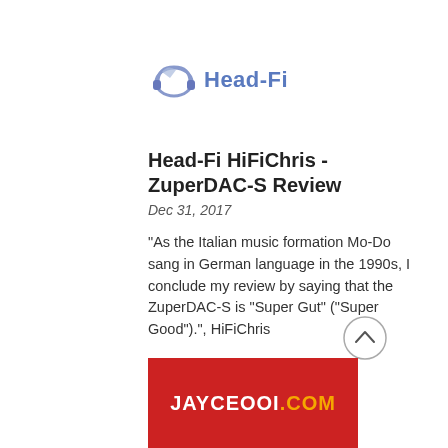[Figure (logo): Head-Fi logo with headphone icon and 'Head-Fi' text in blue-grey]
Head-Fi HiFiChris - ZuperDAC-S Review
Dec 31, 2017
"As the Italian music formation Mo-Do sang in German language in the 1990s, I conclude my review by saying that the ZuperDAC-S is “Super Gut” (“Super Good”).", HiFiChris
[Figure (logo): JayceOoi.com logo - white text on red background]
[Figure (other): Scroll-to-top circular button with chevron up arrow]